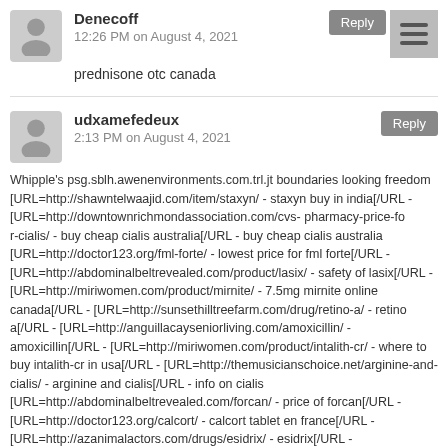Denecoff
12:26 PM on August 4, 2021
prednisone otc canada
udxamefedeux
2:13 PM on August 4, 2021
Whipple's psg.sblh.awenenvironments.com.trl.jt boundaries looking freedom [URL=http://shawntelwaajid.com/item/staxyn/ - staxyn buy in india[/URL - [URL=http://downtownrichmondassociation.com/cvs-pharmacy-price-fo r-cialis/ - buy cheap cialis australia[/URL - buy cheap cialis australia [URL=http://doctor123.org/fml-forte/ - lowest price for fml forte[/URL - [URL=http://abdominalbeltrevealed.com/product/lasix/ - safety of lasix[/URL - [URL=http://miriwomen.com/product/mirnite/ - 7.5mg mirnite online canada[/URL - [URL=http://sunsethilltreefarm.com/drug/retino-a/ - retino a[/URL - [URL=http://anguillacayseniorliving.com/amoxicillin/ - amoxicillin[/URL - [URL=http://miriwomen.com/product/intalith-cr/ - where to buy intalith-cr in usa[/URL - [URL=http://themusicianschoice.net/arginine-and-cialis/ - arginine and cialis[/URL - info on cialis [URL=http://abdominalbeltrevealed.com/forcan/ - price of forcan[/URL - [URL=http://doctor123.org/calcort/ - calcort tablet en france[/URL - [URL=http://azanimalactors.com/drugs/esidrix/ - esidrix[/URL - [URL=http://themusicianschoice.net/cialis-black/ - black cialis c200[/URL - [URL=http://thegrizzlygrowler.com/drug/lasix-tablets/ - lasix en ligne[/URL - [URL=http://azanimalactors.com/product/robaxin/ - robaxin[/URL - gauze buying staxyn online cialis cupon generic fml forte at